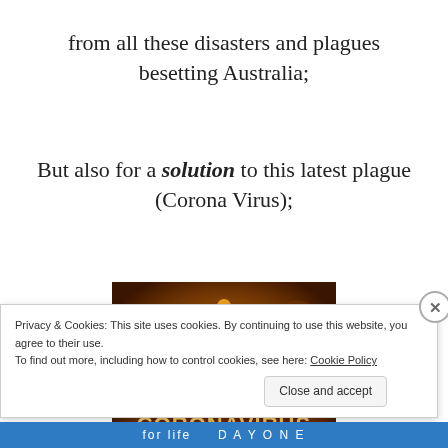from all these disasters and plagues besetting Australia;
But also for a solution to this latest plague (Corona Virus);
[Figure (photo): Close-up illustration of a coronavirus particle with gold/orange coloring and text 'CORONAVIRUS' in bold on the image]
Privacy & Cookies: This site uses cookies. By continuing to use this website, you agree to their use.
To find out more, including how to control cookies, see here: Cookie Policy
Close and accept
for life   DAYONE